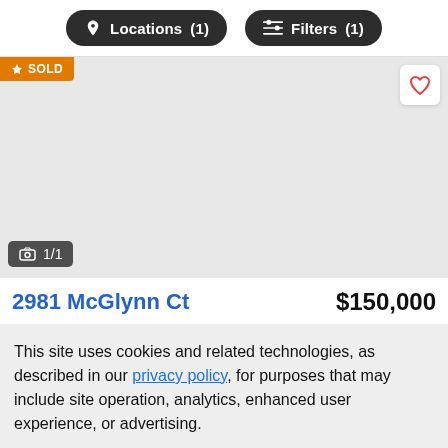Locations (1)   Filters (1)
[Figure (screenshot): Real estate listing card showing a property with SOLD badge, a heart/favorite button, photo count badge '1/1', address '2981 McGlynn Ct' and price '$150,000']
This site uses cookies and related technologies, as described in our privacy policy, for purposes that may include site operation, analytics, enhanced user experience, or advertising.
Manage Preferences   Accept